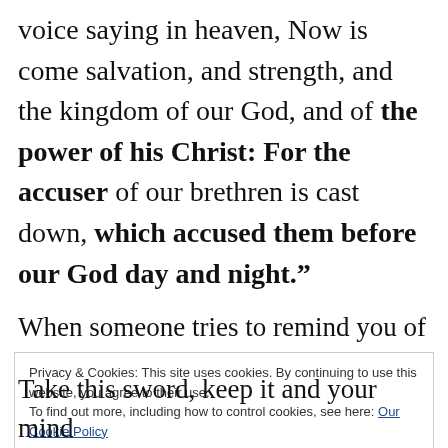voice saying in heaven, Now is come salvation, and strength, and the kingdom of our God, and of the power of his Christ: For the accuser of our brethren is cast down, which accused them before our God day and night.”
When someone tries to remind you of your
Privacy & Cookies: This site uses cookies. By continuing to use this website, you agree to their use.
To find out more, including how to control cookies, see here: Our Cookie Policy
Take this sword, keep it and your mind